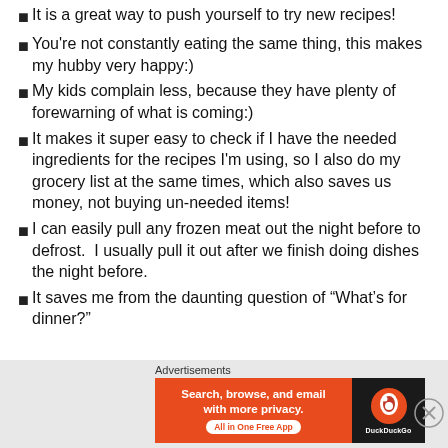It is a great way to push yourself to try new recipes!
You're not constantly eating the same thing, this makes my hubby very happy:)
My kids complain less, because they have plenty of forewarning of what is coming:)
It makes it super easy to check if I have the needed ingredients for the recipes I'm using, so I also do my grocery list at the same times, which also saves us money, not buying un-needed items!
I can easily pull any frozen meat out the night before to defrost.  I usually pull it out after we finish doing dishes the night before.
It saves me from the daunting question of “What’s for dinner?”
Advertisements
[Figure (other): DuckDuckGo advertisement banner: orange left panel with text 'Search, browse, and email with more privacy. All in One Free App' and dark right panel with DuckDuckGo logo]